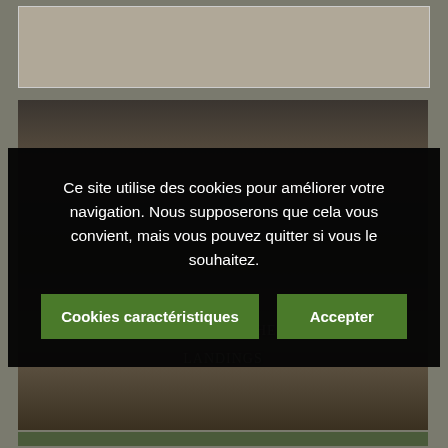[Figure (screenshot): Top gray/beige image bar placeholder area]
[Figure (photo): Dark background photo showing silhouettes of people in military or historical context, with title text 'The Beaches of the D-Day Landings' overlaid]
Ce site utilise des cookies pour améliorer votre navigation. Nous supposerons que cela vous convient, mais vous pouvez quitter si vous le souhaitez.
Cookies caractéristiques
Accepter
The beaches of the D-Day landings